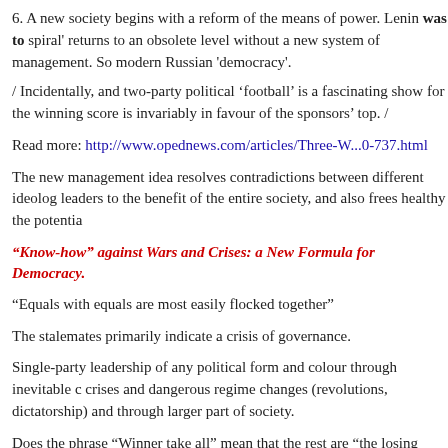6. A new society begins with a reform of the means of power. Lenin was to spiral' returns to an obsolete level without a new system of management. So modern Russian 'democracy'.
/ Incidentally, and two-party political ‘football’ is a fascinating show for the winning score is invariably in favour of the sponsors’ top. /
Read more: http://www.opednews.com/articles/Three-W...0-737.html
The new management idea resolves contradictions between different ideolog leaders to the benefit of the entire society, and also frees healthy the potentia
“Know-how” against Wars and Crises: a New Formula for Democracy.
“Equals with equals are most easily flocked together”
The stalemates primarily indicate a crisis of governance.
Single-party leadership of any political form and colour through inevitable c crises and dangerous regime changes (revolutions, dictatorship) and through larger part of society.
Does the phrase “Winner take all” mean that the rest are “the losing party”? concerning the whole society to the one-sided point of view? Objectivity an